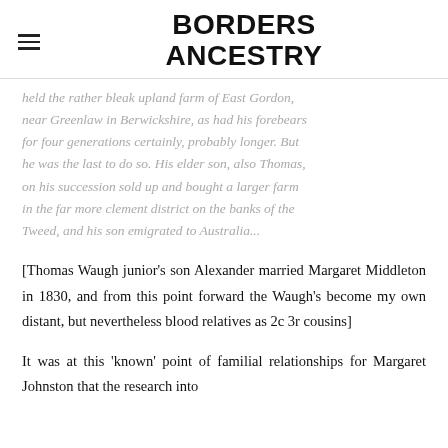BORDERS ANCESTRY
held the rather bleak upland farm of East Gordon, near Greenlaw in Berwickshire, as had his forebears for four generations certainly, probably longer. But he was the last to do so. His elder son, also Thomas, on his succession sold up and bought a larger farm in the far more clement district on the banks of the Tweed, and his son emigrated to Australia...
[Thomas Waugh junior's son Alexander married Margaret Middleton in 1830, and from this point forward the Waugh's become my own distant, but nevertheless blood relatives as 2c 3r cousins]
It was at this 'known' point of familial relationships for Margaret Johnston that the research into